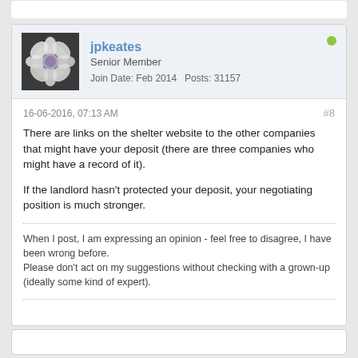[Figure (other): Forum post card with user avatar (flower photo, black and white), username jpkeates, Senior Member, Join Date Feb 2014, Posts 31157, green online indicator dot]
16-06-2016, 07:13 AM   #8
There are links on the shelter website to the other companies that might have your deposit (there are three companies who might have a record of it).

If the landlord hasn't protected your deposit, your negotiating position is much stronger.
When I post, I am expressing an opinion - feel free to disagree, I have been wrong before.
Please don't act on my suggestions without checking with a grown-up (ideally some kind of expert).